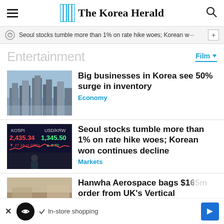The Korea Herald
Seoul stocks tumble more than 1% on rate hike woes; Korean w···
Entertainment
Film
Big businesses in Korea see 50% surge in inventory
Economy
Seoul stocks tumble more than 1% on rate hike woes; Korean won continues decline
Markets
Hanwha Aerospace bags $165m order from UK's Vertical
In-store shopping